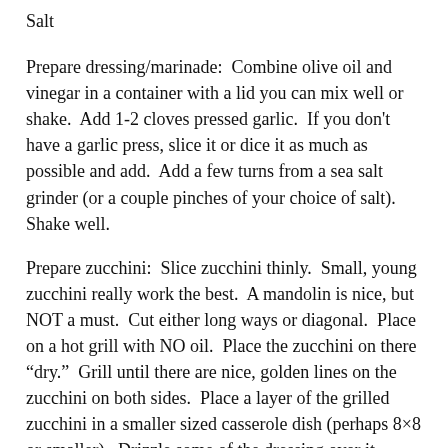Salt
Prepare dressing/marinade:  Combine olive oil and vinegar in a container with a lid you can mix well or shake.  Add 1-2 cloves pressed garlic.  If you don't have a garlic press, slice it or dice it as much as possible and add.  Add a few turns from a sea salt grinder (or a couple pinches of your choice of salt).  Shake well.
Prepare zucchini:  Slice zucchini thinly.  Small, young zucchini really work the best.  A mandolin is nice, but NOT a must.  Cut either long ways or diagonal.  Place on a hot grill with NO oil.  Place the zucchini on there “dry.”  Grill until there are nice, golden lines on the zucchini on both sides.  Place a layer of the grilled zucchini in a smaller sized casserole dish (perhaps 8×8 or smaller).  Drizzle some of the dressing over it.  Grill more zucchini.  Layer over the previous layer.  Drizzle with more dressing.  Repeat until all of zucchini is grilled and dressing all drizzled over it.  Then mix gently.